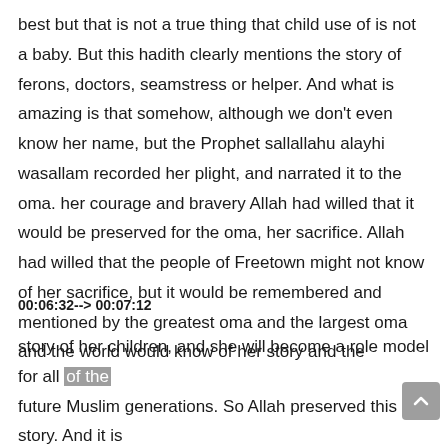best but that is not a true thing that child use of is not a baby. But this hadith clearly mentions the story of ferons, doctors, seamstress or helper. And what is amazing is that somehow, although we don't even know her name, but the Prophet sallallahu alayhi wasallam recorded her plight, and narrated it to the oma. her courage and bravery Allah had willed that it would be preserved for the oma, her sacrifice. Allah had willed that the people of Freetown might not know of her sacrifice, but it would be remembered and mentioned by the greatest oma and the largest oma and the world would know of her story and the
00:06:32--> 00:07:12
story of her children, and she will become a role model for all of the future Muslim generations. So Allah preserved this story. And it is